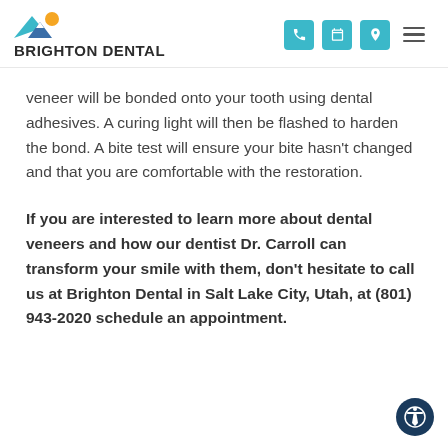BRIGHTON DENTAL
veneer will be bonded onto your tooth using dental adhesives. A curing light will then be flashed to harden the bond. A bite test will ensure your bite hasn't changed and that you are comfortable with the restoration.
If you are interested to learn more about dental veneers and how our dentist Dr. Carroll can transform your smile with them, don't hesitate to call us at Brighton Dental in Salt Lake City, Utah, at (801) 943-2020 schedule an appointment.